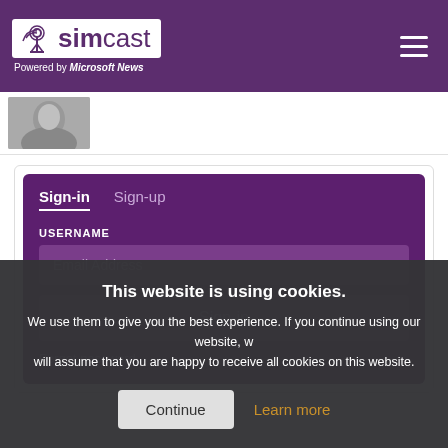simcast — Powered by Microsoft News
[Figure (screenshot): Small thumbnail image of a person, partially visible at bottom of header area]
Sign-in | Sign-up tabs with USERNAME field (Email Address placeholder) inside a purple sign-in panel
This website is using cookies. We use them to give you the best experience. If you continue using our website, we will assume that you are happy to receive all cookies on this website.
Continue | Learn more
Sign-in button
Forgot password